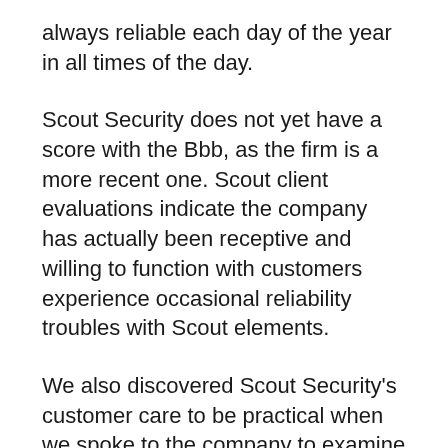always reliable each day of the year in all times of the day.
Scout Security does not yet have a score with the Bbb, as the firm is a more recent one. Scout client evaluations indicate the company has actually been receptive and willing to function with customers experience occasional reliability troubles with Scout elements.
We also discovered Scout Security's customer care to be practical when we spoke to the company to examine different elements of its solution. Our Safety Geek evaluated each of the complying with procedures:.